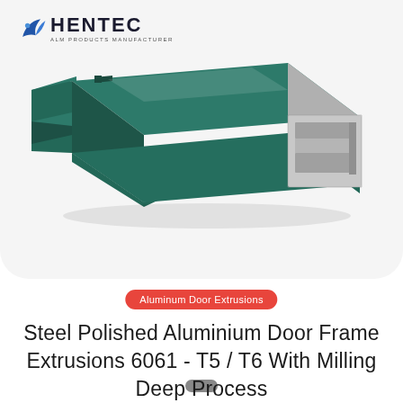[Figure (logo): HENTEC logo with blue bird/flame icon, bold text HENTEC and subtitle ALM PRODUCTS MANUFACTURER]
[Figure (photo): Steel polished aluminium door frame extrusion profile piece in dark teal/green powder-coat finish with visible silver aluminium cross-section channels on the right side, photographed on white background]
Aluminum Door Extrusions
Steel Polished Aluminium Door Frame Extrusions 6061 - T5 / T6 With Milling Deep Process